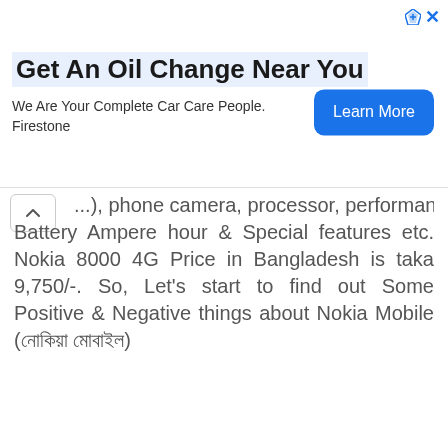[Figure (other): Advertisement banner: 'Get An Oil Change Near You' - We Are Your Complete Car Care People. Firestone. With a 'Learn More' button.]
...), phone camera, processor, performance, Battery Ampere hour & Special features etc. Nokia 8000 4G Price in Bangladesh is taka 9,750/-. So, Let's start to find out Some Positive & Negative things about Nokia Mobile (নোকিয়া মোবাইল)